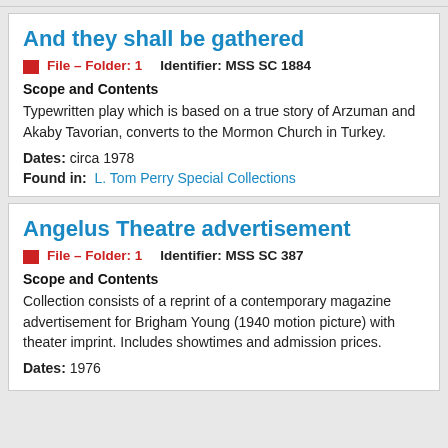And they shall be gathered
File – Folder: 1   Identifier: MSS SC 1884
Scope and Contents
Typewritten play which is based on a true story of Arzuman and Akaby Tavorian, converts to the Mormon Church in Turkey.
Dates: circa 1978
Found in: L. Tom Perry Special Collections
Angelus Theatre advertisement
File – Folder: 1   Identifier: MSS SC 387
Scope and Contents
Collection consists of a reprint of a contemporary magazine advertisement for Brigham Young (1940 motion picture) with theater imprint. Includes showtimes and admission prices.
Dates: 1976